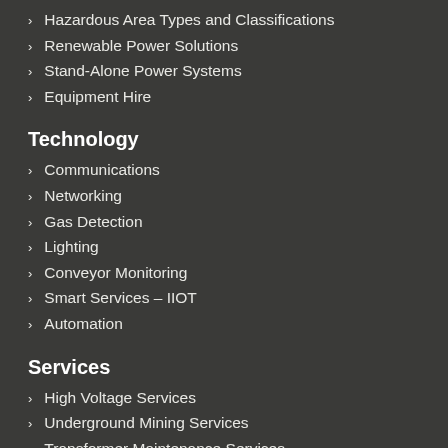Hazardous Area Types and Classifications
Renewable Power Solutions
Stand-Alone Power Systems
Equipment Hire
Technology
Communications
Networking
Gas Detection
Lighting
Conveyor Monitoring
Smart Services – IIOT
Automation
Services
High Voltage Services
Underground Mining Services
Transformer Maintenance Services